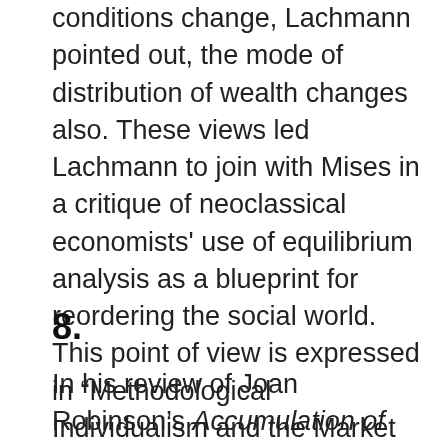conditions change, Lachmann pointed out, the mode of distribution of wealth changes also. These views led Lachmann to join with Mises in a critique of neoclassical economists' use of equilibrium analysis as a blueprint for reordering the social world. This point of view is expressed in “Methodological Individualism and the Market Economy.”
8.
In his review of Joan Robinson’s Accumulation of Capital (1956) Lachmann sought to place the book within the traditional framework of economics. Because she was interested in